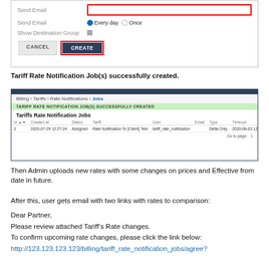[Figure (screenshot): Form screenshot showing Send Email field with Every day/Once radio buttons, Show Destination Group checkbox, and CANCEL/CREATE buttons with red highlight border around CREATE]
Tariff Rate Notification Job(s) successfully created.
[Figure (screenshot): Screenshot of Billing > Tariffs > Rate Notifications > Jobs page showing success message bar and Tariffs Rate Notification Jobs table with one row: ID 2, Created 2020-07-29 12:27:24, Status Assigned, Tariff Rate Notification To [Client] Test, User tariff_rate_notification, Type Delta Only, Timeout 2020-08-03 12:27:24, Response No Response]
Then Admin uploads new rates with some changes on prices and Effective from date in future.
After this, user gets email with two links with rates to comparison:
Dear Partner,
Please review attached Tariff’s Rate changes.
To confirm upcoming rate changes, please click the link below:
http://123.123.123.123/billing/tariff_rate_notification_jobs/agree?